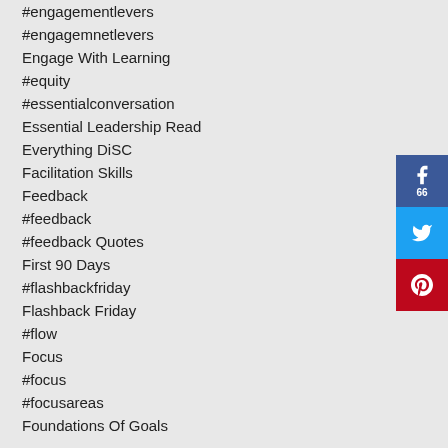#engagementlevers
#engagemnetlevers
Engage With Learning
#equity
#essentialconversation
Essential Leadership Read
Everything DiSC
Facilitation Skills
Feedback
#feedback
#feedback Quotes
First 90 Days
#flashbackfriday
Flashback Friday
#flow
Focus
#focus
#focusareas
Foundations Of Goals